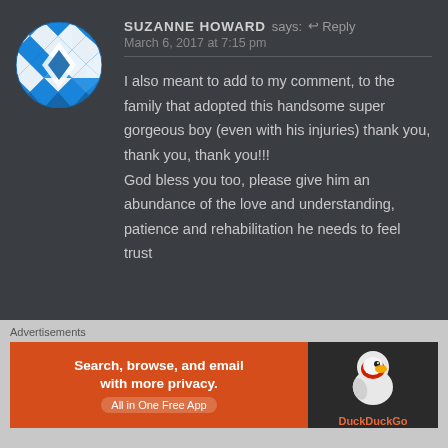[Figure (illustration): Circular avatar with blue and white geometric diamond/cross pattern on dark blue background]
SUZANNE HOWARD says: ↩ Reply
March 6, 2017 at 7:15 pm
I also meant to add to my comment, to the family that adopted this handsome super gorgeous boy (even with his injuries) thank you, thank you, thank you!!! God bless you too, please give him an abundance of the love and understanding, patience and rehabilitation he needs to feel trust
Advertisements
[Figure (screenshot): DuckDuckGo advertisement banner: orange left section with text 'Search, browse, and email with more privacy. All in One Free App', dark right section with DuckDuckGo duck logo]